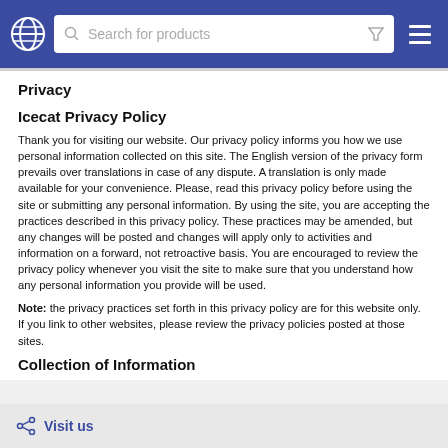Search for products
Privacy
Icecat Privacy Policy
Thank you for visiting our website. Our privacy policy informs you how we use personal information collected on this site. The English version of the privacy form prevails over translations in case of any dispute. A translation is only made available for your convenience. Please, read this privacy policy before using the site or submitting any personal information. By using the site, you are accepting the practices described in this privacy policy. These practices may be amended, but any changes will be posted and changes will apply only to activities and information on a forward, not retroactive basis. You are encouraged to review the privacy policy whenever you visit the site to make sure that you understand how any personal information you provide will be used.
Note: the privacy practices set forth in this privacy policy are for this website only. If you link to other websites, please review the privacy policies posted at those sites.
Collection of Information
Visit us